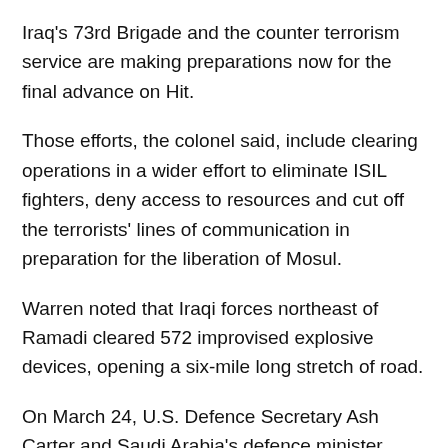Iraq's 73rd Brigade and the counter terrorism service are making preparations now for the final advance on Hit.
Those efforts, the colonel said, include clearing operations in a wider effort to eliminate ISIL fighters, deny access to resources and cut off the terrorists' lines of communication in preparation for the liberation of Mosul.
Warren noted that Iraqi forces northeast of Ramadi cleared 572 improvised explosive devices, opening a six-mile long stretch of road.
On March 24, U.S. Defence Secretary Ash Carter and Saudi Arabia's defence minister, Deputy Crown Prince Mohammed bin Salman, affirmed the importance of the defence relationship between their nations during a phone call.
Also discussed the security environment in the Middle East, including ways to work together to strengthen cooperation on